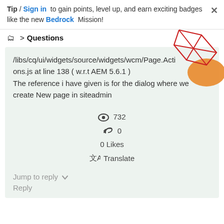Tip / Sign in to gain points, level up, and earn exciting badges like the new Bedrock Mission!
Questions
/libs/cq/ui/widgets/source/widgets/wcm/Page.Actions.js at line 138 ( w.r.t AEM 5.6.1 )
The reference i have given is for the dialog where we create New page in siteadmin
[Figure (screenshot): Decorative geometric illustration with red polygon lines and orange shape in top right corner]
732
0
0 Likes
Translate
Jump to reply
Reply